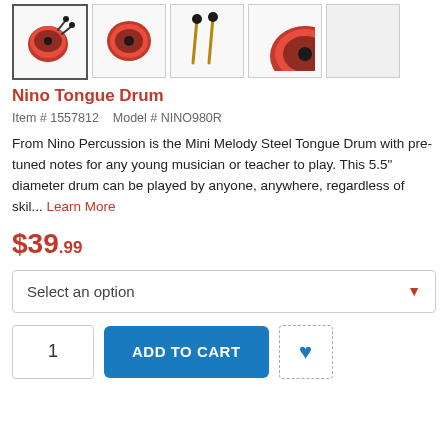[Figure (photo): Row of 5 product thumbnail images of the Nino Tongue Drum. First image (selected/highlighted) shows red drum bowl with two mallets. Second shows red drum bowl from above. Third shows the two mallets/sticks. Fourth shows a partial close-up view of the drum. Fifth is mostly blank/white.]
Nino Tongue Drum
Item # 1557812    Model # NINO980R
From Nino Percussion is the Mini Melody Steel Tongue Drum with pre-tuned notes for any young musician or teacher to play. This 5.5" diameter drum can be played by anyone, anywhere, regardless of skil... Learn More
$39.99
Select an option
1  ADD TO CART  ♥